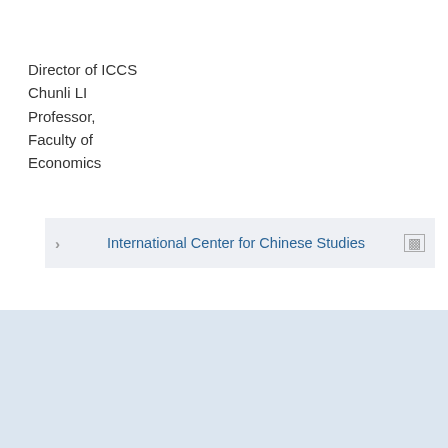Director of ICCS
Chunli LI
Professor,
Faculty of
Economics
International Center for Chinese Studies
Education and Research
Teaching Faculties
Libraries & Resources